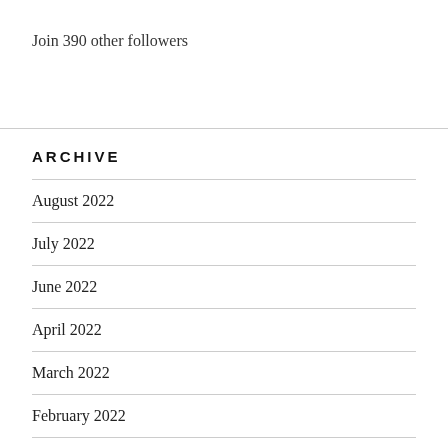Join 390 other followers
ARCHIVE
August 2022
July 2022
June 2022
April 2022
March 2022
February 2022